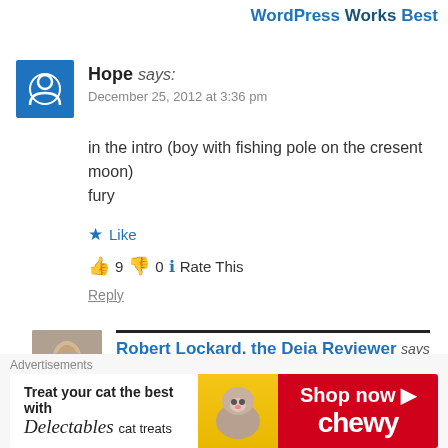WordPress Works Best
Hope says:
December 25, 2012 at 3:36 pm
in the intro (boy with fishing pole on the cresent moon) fury
★ Like
👍 9 👎 0 ℹ Rate This
Reply
Robert Lockard, the Deja Reviewer says
December 25, 2012 at 10:08 pm
Advertisements
[Figure (other): Advertisement banner for Chewy pet food — Treat your cat the best with Delectables cat treats, with cat photo and Shop now Chewy branding on red background]